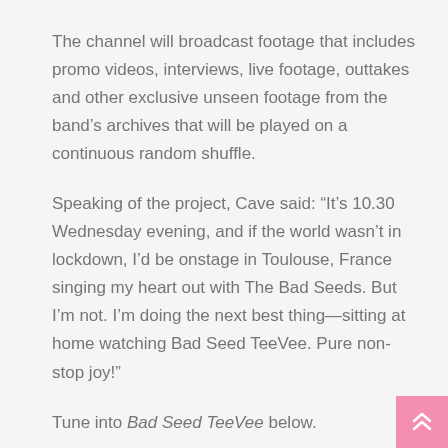The channel will broadcast footage that includes promo videos, interviews, live footage, outtakes and other exclusive unseen footage from the band's archives that will be played on a continuous random shuffle.
Speaking of the project, Cave said: “It’s 10.30 Wednesday evening, and if the world wasn’t in lockdown, I’d be onstage in Toulouse, France singing my heart out with The Bad Seeds. But I’m not. I’m doing the next best thing—sitting at home watching Bad Seed TeeVee. Pure non-stop joy!”
Tune into Bad Seed TeeVee below.